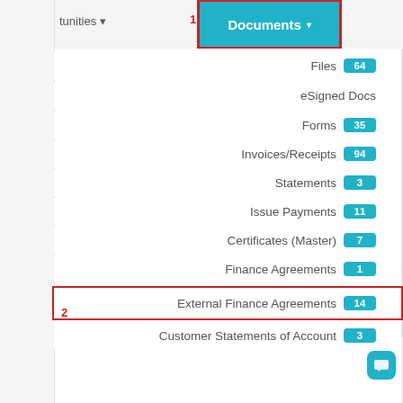tunities ▾   1   Documents ▾
Files 64
eSigned Docs
Forms 35
Invoices/Receipts 94
Statements 3
Issue Payments 11
Certificates (Master) 7
Finance Agreements 1
2 External Finance Agreements 14
Customer Statements of Account 3